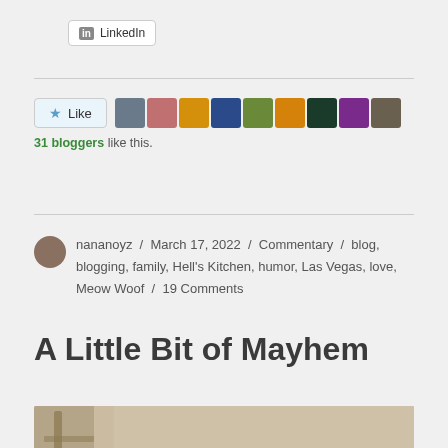[Figure (other): LinkedIn share button]
[Figure (other): Like button with 9 blogger avatars and '31 bloggers like this.' text]
nananoyz / March 17, 2022 / Commentary / blog, blogging, family, Hell's Kitchen, humor, Las Vegas, love, Meow Woof / 19 Comments
A Little Bit of Mayhem
[Figure (photo): Partial photo showing a chair and textured background]